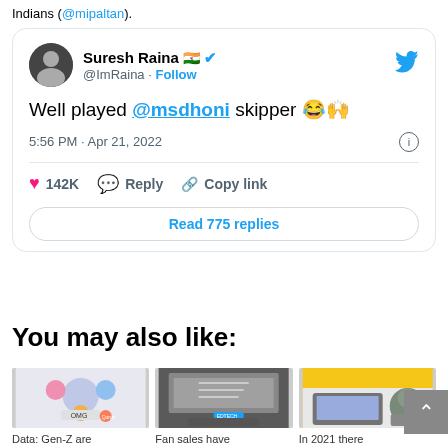Indians (@mipaltan).
[Figure (screenshot): Embedded tweet from Suresh Raina (@ImRaina) saying 'Well played @msdhoni skipper 😂🙌' posted at 5:56 PM · Apr 21, 2022 with 142K likes. Actions shown: Reply, Copy link. Button: Read 775 replies.]
You may also like:
[Figure (photo): Thumbnail image showing social media icons and a phone - Data: Gen-Z are]
Data: Gen-Z are
[Figure (photo): Thumbnail image of shopping cart on laptop keyboard - Fan sales have]
Fan sales have
[Figure (photo): Thumbnail image of laptop and plant on desk - In 2021 there]
In 2021 there